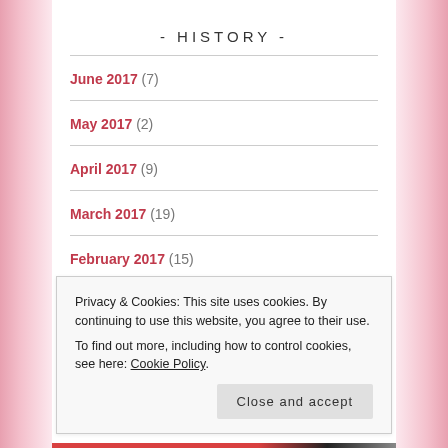- HISTORY -
June 2017 (7)
May 2017 (2)
April 2017 (9)
March 2017 (19)
February 2017 (15)
Privacy & Cookies: This site uses cookies. By continuing to use this website, you agree to their use. To find out more, including how to control cookies, see here: Cookie Policy